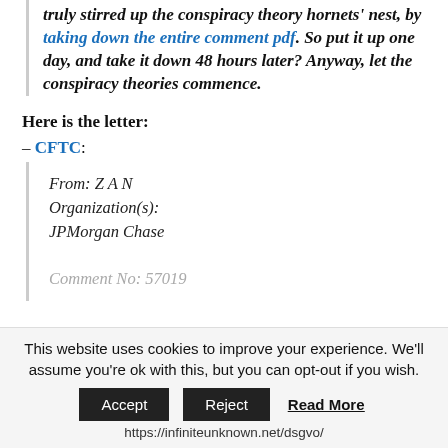truly stirred up the conspiracy theory hornets' nest, by taking down the entire comment pdf. So put it up one day, and take it down 48 hours later? Anyway, let the conspiracy theories commence.
Here is the letter:
– CFTC:
From: Z A N
Organization(s): JPMorgan Chase

Comment No: 57019
This website uses cookies to improve your experience. We'll assume you're ok with this, but you can opt-out if you wish.
Accept   Reject   Read More
https://infiniteunknown.net/dsgvo/